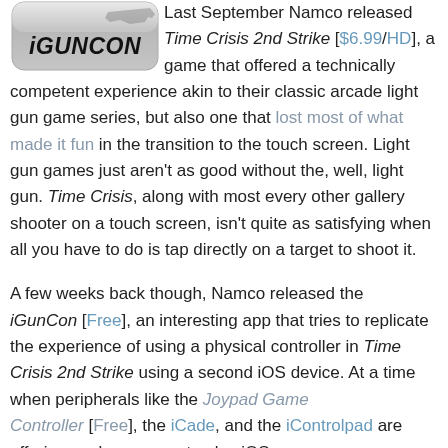[Figure (logo): iGunCon logo — metallic rounded rectangle badge with italic bold uppercase text 'iGUNCON' and a gun silhouette in the upper right]
Last September Namco released Time Crisis 2nd Strike [$6.99/HD], a game that offered a technically competent experience akin to their classic arcade light gun game series, but also one that lost most of what made it fun in the transition to the touch screen. Light gun games just aren't as good without the, well, light gun. Time Crisis, along with most every other gallery shooter on a touch screen, isn't quite as satisfying when all you have to do is tap directly on a target to shoot it.
A few weeks back though, Namco released the iGunCon [Free], an interesting app that tries to replicate the experience of using a physical controller in Time Crisis 2nd Strike using a second iOS device. At a time when peripherals like the Joypad Game Controller [Free], the iCade, and the iControlpad are offering cool new ways to play iOS